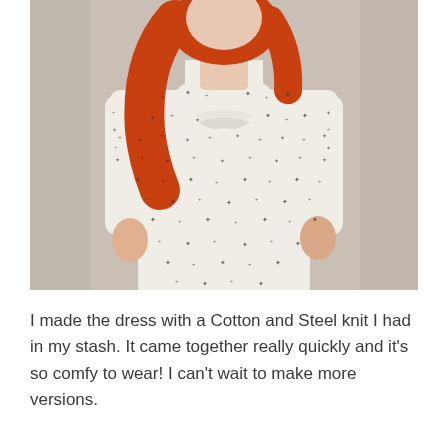[Figure (photo): A woman with long red hair wearing a white knit dress with small black cross/star pattern and a ruffle detail at the chest. The dress has 3/4 length sleeves. She is photographed against a light beige/grey background.]
I made the dress with a Cotton and Steel knit I had in my stash. It came together really quickly and it's so comfy to wear! I can't wait to make more versions.